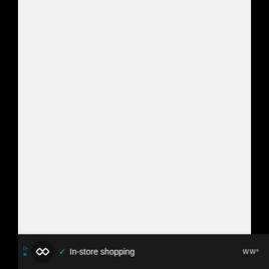[Figure (screenshot): A mostly blank/white document or webpage content area with a light gray background. The area spans most of the upper portion of the page.]
WWº
In-store shopping